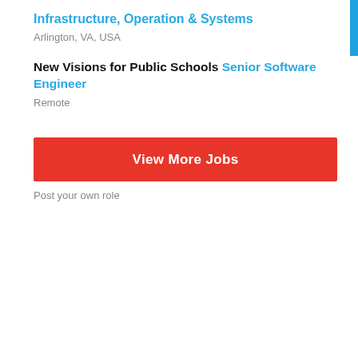Infrastructure, Operation & Systems
Arlington, VA, USA
New Visions for Public Schools Senior Software Engineer
Remote
View More Jobs
Post your own role